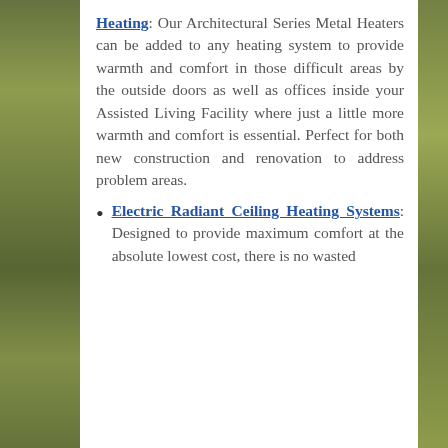Heating: Our Architectural Series Metal Heaters can be added to any heating system to provide warmth and comfort in those difficult areas by the outside doors as well as offices inside your Assisted Living Facility where just a little more warmth and comfort is essential. Perfect for both new construction and renovation to address problem areas.
Electric Radiant Ceiling Heating Systems: Designed to provide maximum comfort at the absolute lowest cost, there is no wasted [continues]